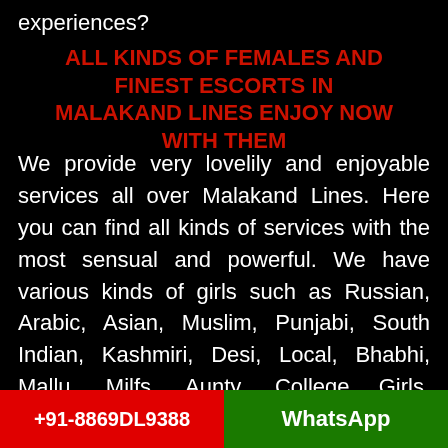experiences?
ALL KINDS OF FEMALES AND FINEST ESCORTS IN MALAKAND LINES ENJOY NOW WITH THEM
We provide very lovelily and enjoyable services all over Malakand Lines. Here you can find all kinds of services with the most sensual and powerful. We have various kinds of girls such as Russian, Arabic, Asian, Muslim, Punjabi, South Indian, Kashmiri, Desi, Local, Bhabhi, Mallu, Milfs, Aunty, College Girls, Teenagers, Air Hostess, Model, Celebrity, and VIPs, High Profile, and Italian. All varieties you can get
+91-8869DL9388   WhatsApp